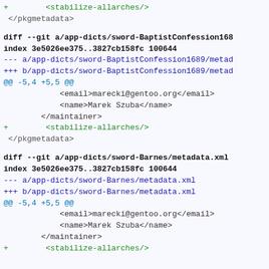+ <stabilize-allarches/>
 </pkgmetadata>
diff --git a/app-dicts/sword-BaptistConfession168
index 3e5026ee375..3827cb158fc 100644
--- a/app-dicts/sword-BaptistConfession1689/metad
+++ b/app-dicts/sword-BaptistConfession1689/metad
@@ -5,4 +5,5 @@
             <email>marecki@gentoo.org</email>
             <name>Marek Szuba</name>
         </maintainer>
+         <stabilize-allarches/>
 </pkgmetadata>
diff --git a/app-dicts/sword-Barnes/metadata.xml
index 3e5026ee375..3827cb158fc 100644
--- a/app-dicts/sword-Barnes/metadata.xml
+++ b/app-dicts/sword-Barnes/metadata.xml
@@ -5,4 +5,5 @@
             <email>marecki@gentoo.org</email>
             <name>Marek Szuba</name>
         </maintainer>
+ <stabilize-allarches/>